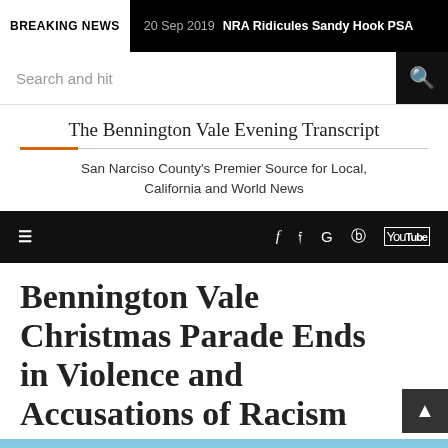BREAKING NEWS  20 Sep 2019  NRA Ridicules Sandy Hook PSA
Search and hit
The Bennington Vale Evening Transcript
San Narciso County's Premier Source for Local, California and World News
Navigation bar with hamburger menu and social icons: f  y  G  pinterest  YouTube
Bennington Vale Christmas Parade Ends in Violence and Accusations of Racism
[Figure (photo): Bottom portion of a news article page showing the top of a photo image, appearing to show outdoor scene with blue sky]